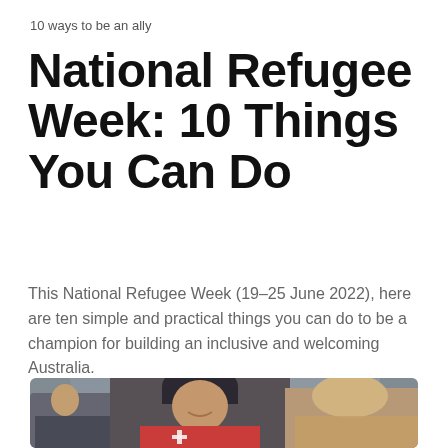10 ways to be an ally
National Refugee Week: 10 Things You Can Do
This National Refugee Week (19–25 June 2022), here are ten simple and practical things you can do to be a champion for building an inclusive and welcoming Australia.
[Figure (photo): A smiling Red Cross volunteer wearing a dark beanie and red jacket with Red Cross logo, surrounded by other people indoors, photographed in a warm candid setting.]